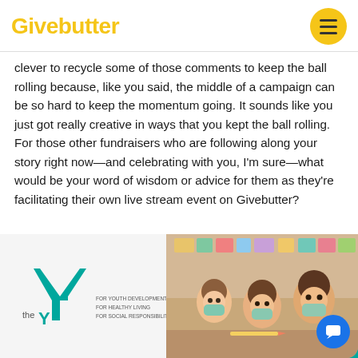Givebutter
clever to recycle some of those comments to keep the ball rolling because, like you said, the middle of a campaign can be so hard to keep the momentum going. It sounds like you just got really creative in ways that you kept the ball rolling. For those other fundraisers who are following along your story right now—and celebrating with you, I'm sure—what would be your word of wisdom or advice for them as they're facilitating their own live stream event on Givebutter?
[Figure (logo): YMCA logo — the Y symbol in teal/green with text 'the Y' and tagline 'FOR YOUTH DEVELOPMENT / FOR HEALTHY LIVING / FOR SOCIAL RESPONSIBILITY']
[Figure (photo): Children wearing face masks sitting at a classroom table, with colorful artwork visible in the background.]